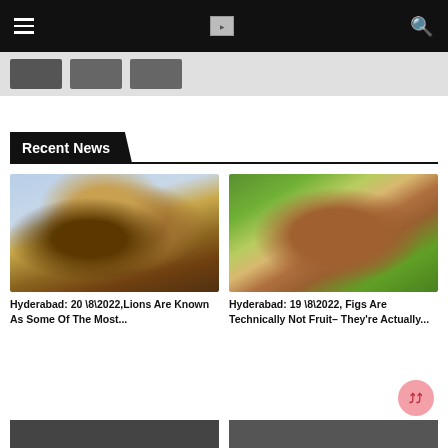Navigation bar with hamburger menu, logo, and search icon
[Figure (screenshot): Sub-navigation thumbnail row with three dark placeholder images]
Recent News
[Figure (photo): Lion with cub, light blue sky background]
Hyderabad: 20 \8\2022,Lions Are Known As Some Of The Most...
[Figure (photo): Hand holding a cross-section of a fig fruit against green grass]
Hyderabad: 19 \8\2022, Figs Are Technically Not Fruit– They're Actually...
[Figure (photo): Bottom strip with two more article thumbnail images (partially visible)]